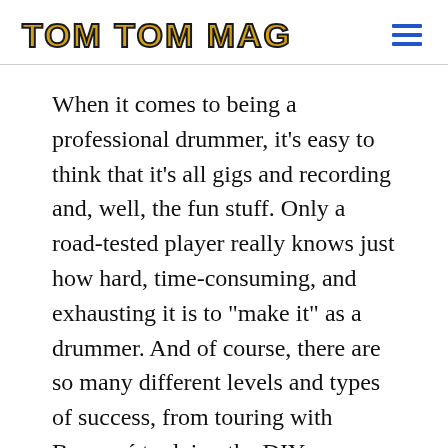TOM TOM MAG
When it comes to being a professional drummer, it’s easy to think that it’s all gigs and recording and, well, the fun stuff. Only a road-tested player really knows just how hard, time-consuming, and exhausting it is to “make it” as a drummer. And of course, there are so many different levels and types of success, from touring with Beyoncé to doing the DIY